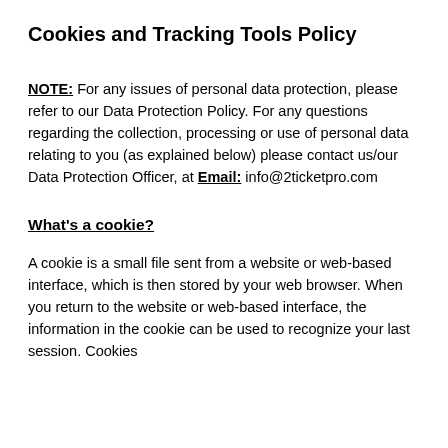Cookies and Tracking Tools Policy
NOTE: For any issues of personal data protection, please refer to our Data Protection Policy. For any questions regarding the collection, processing or use of personal data relating to you (as explained below) please contact us/our Data Protection Officer, at Email: info@2ticketpro.com
What's a cookie?
A cookie is a small file sent from a website or web-based interface, which is then stored by your web browser. When you return to the website or web-based interface, the information in the cookie can be used to recognize your last session. Cookies